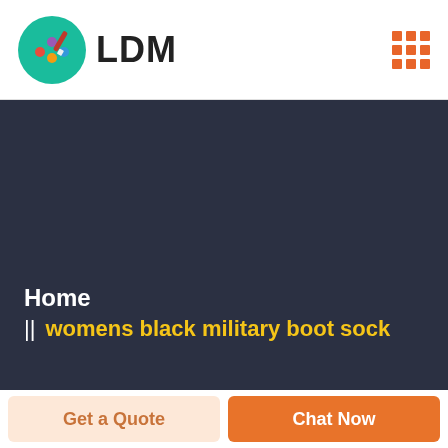[Figure (logo): LDM logo with colorful palette and brush icon inside a teal circle, followed by bold text LDM]
[Figure (other): 3x3 grid of orange squares icon in top right corner]
Home
womens black military boot sock
Get a Quote
Chat Now